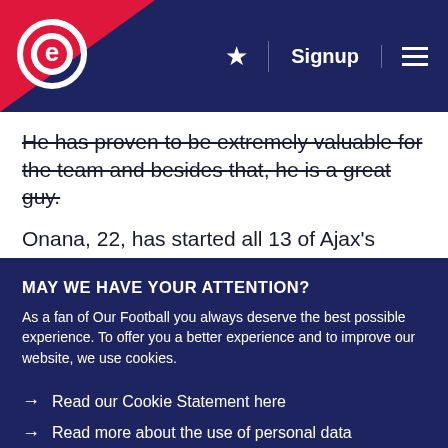Signup
He has proven to be extremely valuable for the team and besides that, he is a great guy.
Onana, 22, has started all 13 of Ajax's Eredivisie and four Uefa Champions League group stage matches
MAY WE HAVE YOUR ATTENTION?
As a fan of Our Football you always deserve the best possible experience. To offer you a better experience and to improve our website, we use cookies.
MANAGE COOKIES
ACCEPT ALL COOKIES
→ Read our Cookie Statement here
→ Read more about the use of personal data